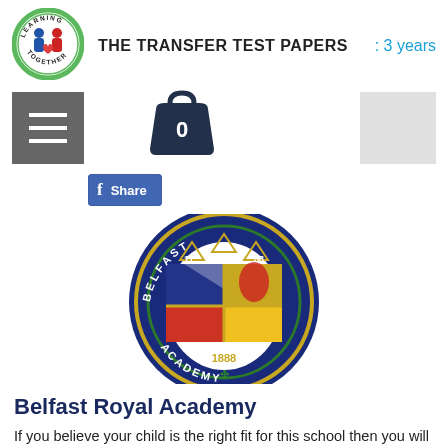[Figure (logo): Learning Together circular logo with green border, two child figures, and text arched around the circle]
THE TRANSFER TEST PAPERS
: 3 years
[Figure (illustration): Hamburger menu icon (three horizontal white lines on dark grey background)]
[Figure (illustration): Shopping cart bag icon showing number 0]
[Figure (illustration): Grey search/login box placeholder]
[Figure (illustration): Facebook Share button with f logo]
[Figure (logo): Belfast Royal Academy circular crest/seal showing coat of arms with text BELFAST 1788 ACADEMY 1888]
Belfast Royal Academy
If you believe your child is the right fit for this school then you will want to review the number of applications and the number of admissions that the school has had over the